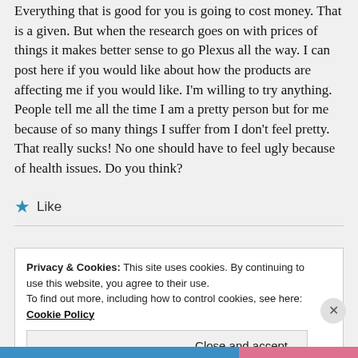Everything that is good for you is going to cost money. That is a given. But when the research goes on with prices of things it makes better sense to go Plexus all the way. I can post here if you would like about how the products are affecting me if you would like. I'm willing to try anything. People tell me all the time I am a pretty person but for me because of so many things I suffer from I don't feel pretty. That really sucks! No one should have to feel ugly because of health issues. Do you think?
★ Like
Privacy & Cookies: This site uses cookies. By continuing to use this website, you agree to their use.
To find out more, including how to control cookies, see here: Cookie Policy
Close and accept